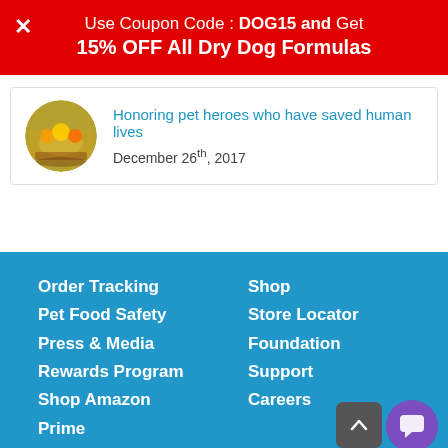Use Coupon Code : DOG15 and Get 15% OFF All Dry Dog Formulas
[Figure (photo): Circular thumbnail image of pet heroes with colorful decorations]
Honoring pet heroes who have saved human lives
December 26th, 2017
Order Tracking | Pet Food Safety | Press & Media | Rewards Program | Shop Amazon Prime | Shop | Store Locator | Foundation | Support | Careers